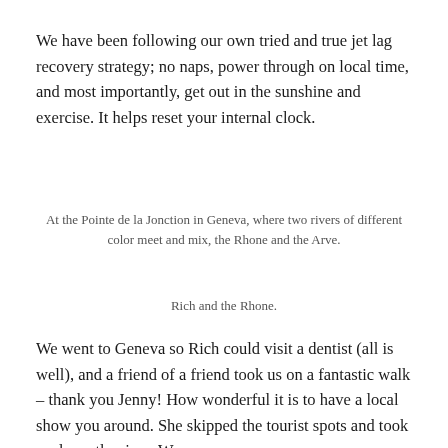We have been following our own tried and true jet lag recovery strategy; no naps, power through on local time, and most importantly, get out in the sunshine and exercise. It helps reset your internal clock.
At the Pointe de la Jonction in Geneva, where two rivers of different color meet and mix, the Rhone and the Arve.
Rich and the Rhone.
We went to Geneva so Rich could visit a dentist (all is well), and a friend of a friend took us on a fantastic walk – thank you Jenny! How wonderful it is to have a local show you around. She skipped the tourist spots and took us down the river. We